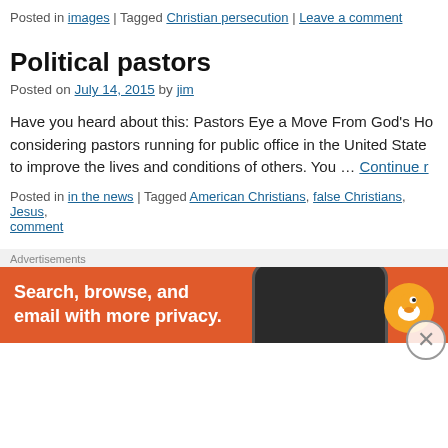Posted in images | Tagged Christian persecution | Leave a comment
Political pastors
Posted on July 14, 2015 by jim
Have you heard about this: Pastors Eye a Move From God's Ho... considering pastors running for public office in the United State... to improve the lives and conditions of others. You … Continue r
Posted in in the news | Tagged American Christians, false Christians, Jesus, | Leave a comment
Receive the kingdom of God as a little ch
Posted on July 14, 2015 by jim
[Figure (screenshot): Advertisement banner with DuckDuckGo ad: 'Search, browse, and email with more privacy.' with phone graphic and duck logo]